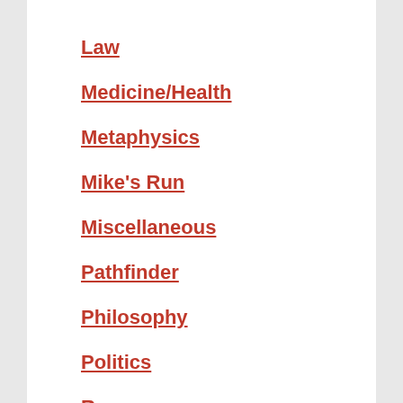Law
Medicine/Health
Metaphysics
Mike's Run
Miscellaneous
Pathfinder
Philosophy
Politics
Race
Reproduction